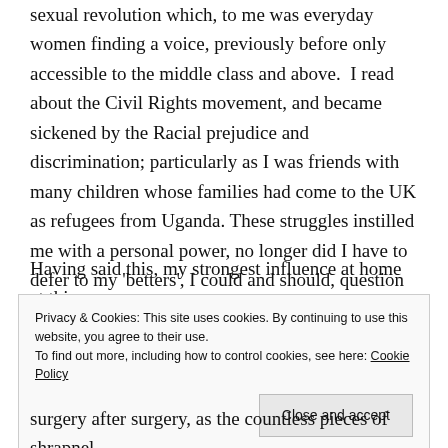sexual revolution which, to me was everyday women finding a voice, previously before only accessible to the middle class and above.  I read about the Civil Rights movement, and became sickened by the Racial prejudice and discrimination; particularly as I was friends with many children whose families had come to the UK as refugees from Uganda. These struggles instilled me with a personal power, no longer did I have to defer to my 'betters', I could and should, question and challenge my elders.
Having said this, my strongest influence at home at this
Privacy & Cookies: This site uses cookies. By continuing to use this website, you agree to their use.
To find out more, including how to control cookies, see here: Cookie Policy
Close and accept
surgery after surgery, as the countless pieces of shrapnel